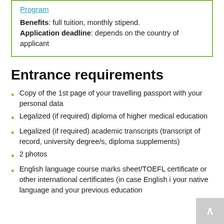Program
Benefits: full tuition, monthly stipend.
Application deadline: depends on the country of applicant
Entrance requirements
Copy of the 1st page of your travelling passport with your personal data
Legalized (if required) diploma of higher medical education
Legalized (if required) academic transcripts (transcript of record, university degree/s, diploma supplements)
2 photos
English language course marks sheet/TOEFL certificate or other international certificates (in case English is your native language and your previous education